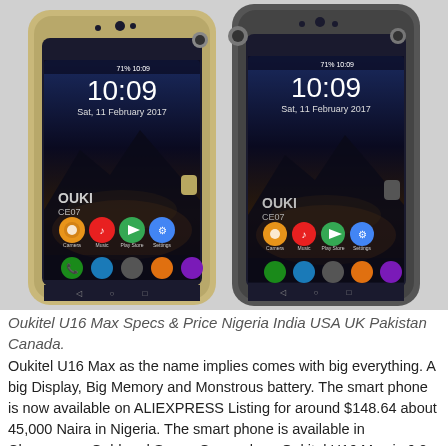[Figure (photo): Two Oukitel U16 Max smartphones side by side — one in Champagne Gold (left) and one in Space Grey (right), both displaying the time 10:09, Sat, 11 February 2017 on their lock screens with a mountain city wallpaper.]
Oukitel U16 Max Specs & Price Nigeria India USA UK Pakistan Canada.
Oukitel U16 Max as the name implies comes with big everything. A big Display, Big Memory and Monstrous battery. The smart phone is now available on ALIEXPRESS Listing for around $148.64 about 45,000 Naira in Nigeria. The smart phone is available in Champagne Gold and Space Grey colour. Oukitel U16 Max is 6.0 inches in size, runs Android 7.0